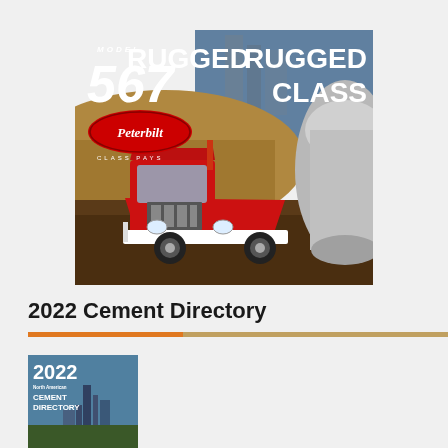[Figure (photo): Peterbilt Model 567 truck advertisement. Red semi-truck on dirt background with 'RUGGED CLASS' text in white. Peterbilt logo oval in red. Text reads MODEL 567, RUGGED CLASS, CLASS PAYS.]
2022 Cement Directory
[Figure (photo): Cover of the 2022 North American Cement Directory book, showing industrial machinery/plant in background, with '2022 North American Cement Directory' text.]